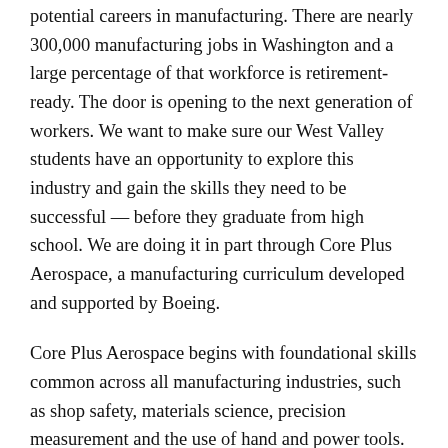potential careers in manufacturing. There are nearly 300,000 manufacturing jobs in Washington and a large percentage of that workforce is retirement-ready. The door is opening to the next generation of workers. We want to make sure our West Valley students have an opportunity to explore this industry and gain the skills they need to be successful — before they graduate from high school. We are doing it in part through Core Plus Aerospace, a manufacturing curriculum developed and supported by Boeing.
Core Plus Aerospace begins with foundational skills common across all manufacturing industries, such as shop safety, materials science, precision measurement and the use of hand and power tools. As students dig deeper into the curriculum, they can gain exposure to aerospace-specific content in areas such as fiber optics, advanced composites, robotics, and more.
Preparation and exploration start in our middle school